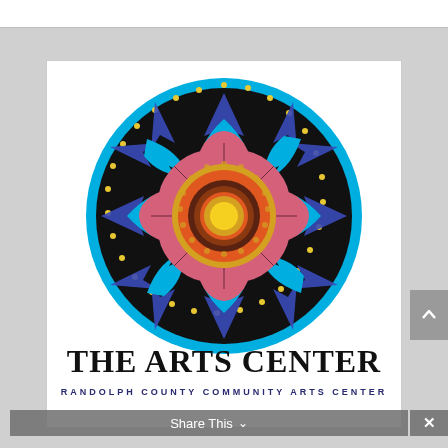[Figure (logo): The Arts Center - Randolph County Community Arts Center logo. A mandala-style circular design featuring a large pink flower with multiple petals, concentric rings of orange/brown/gold at center with a yellow circle in the middle, surrounded by a black background with blue and purple geometric patterns and a cyan/turquoise outer ring with gold dot border. Below the circle: 'THE ARTS CENTER' in large serif bold black text, and 'RANDOLPH COUNTY COMMUNITY ARTS CENTER' in small blue uppercase spaced letters.]
Share This